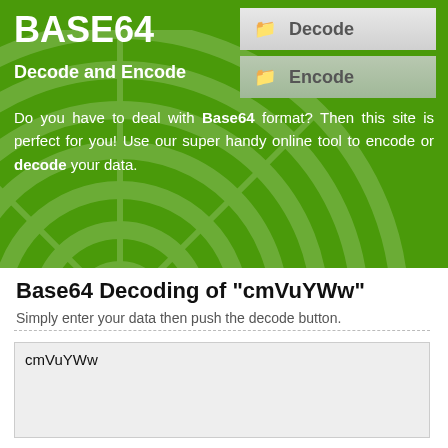BASE64
Decode and Encode
Decode
Encode
Do you have to deal with Base64 format? Then this site is perfect for you! Use our super handy online tool to encode or decode your data.
Base64 Decoding of "cmVuYWw"
Simply enter your data then push the decode button.
cmVuYWw